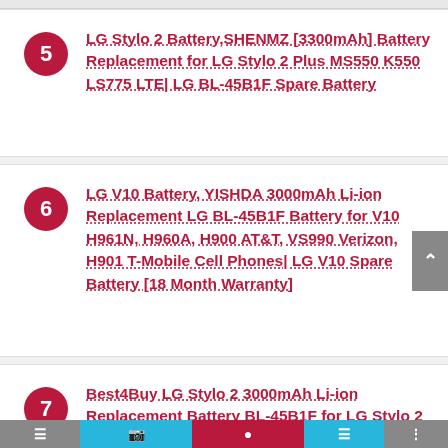5 LG Stylo 2 Battery,SHENMZ [3300mAh] Battery Replacement for LG Stylo 2 Plus MS550 K550 LS775 LTE| LG BL-45B1F Spare Battery
6 LG V10 Battery, YISHDA 3000mAh Li-ion Replacement LG BL-45B1F Battery for V10 H961N, H960A, H900 AT&T, VS990 Verizon, H901 T-Mobile Cell Phones| LG V10 Spare Battery [18 Month Warranty]
7 Best4Buy LG Stylo 2 3000mAh Li-ion Replacement Battery BL-45B1F for LG Stylo 2